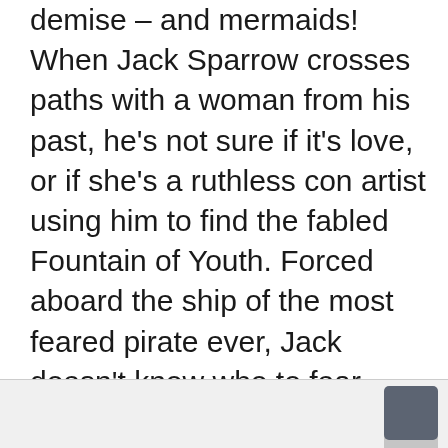demise – and mermaids! When Jack Sparrow crosses paths with a woman from his past, he's not sure if it's love, or if she's a ruthless con artist using him to find the fabled Fountain of Youth. Forced aboard the ship of the most feared pirate ever, Jack doesn't know who to fear more – Blackbeard or the woman from his past.